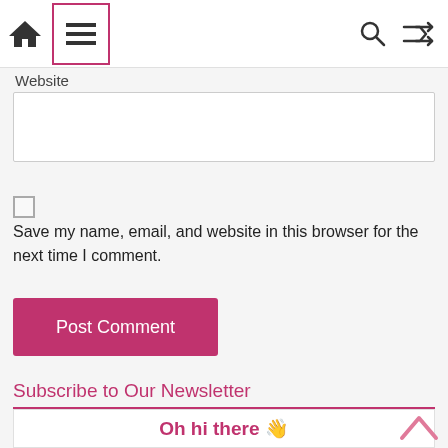[Figure (screenshot): Navigation bar with home icon, hamburger menu (highlighted with red border), search icon, and shuffle icon]
Website
[Figure (other): Empty website input text field]
[Figure (other): Unchecked checkbox]
Save my name, email, and website in this browser for the next time I comment.
[Figure (other): Post Comment button in dark pink/red color]
Subscribe to Our Newsletter
[Figure (other): Newsletter signup box with Oh hi there waving hand emoji text and back-to-top chevron arrow]